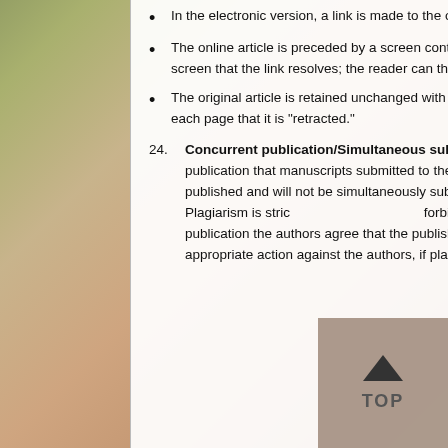In the electronic version, a link is made to the original article.
The online article is preceded by a screen containing the retraction note. It is to this screen that the link resolves; the reader can then proceed to the article itself.
The original article is retained unchanged with a watermark on the PDF indicating on each page that it is “retracted.”
24. Concurrent publication/Simultaneous submission: It is a condition of publication that manuscripts submitted to the Bentham journal have not been published and will not be simultaneously submitted or published elsewhere. Plagiarism is strictly forbidden, and by submitting the article for publication the authors agree that the publishers have the legal right to take appropriate action against the authors, if plagiarism or fabricated information is